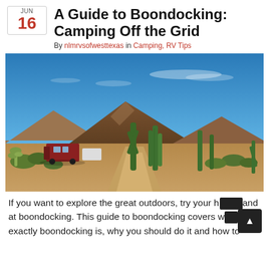A Guide to Boondocking: Camping Off the Grid
By nlmrvsofwesttexas in Camping, RV Tips
[Figure (photo): Desert landscape with a dirt road, large saguaro and organ pipe cacti, RV parked on the left, and a rocky mountain in the background under a blue sky.]
If you want to explore the great outdoors, try your hand at boondocking. This guide to boondocking covers what exactly boondocking is, why you should do it and how to